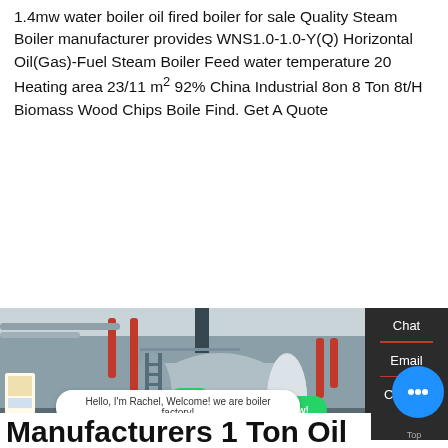1.4mw water boiler oil fired boiler for sale Quality Steam Boiler manufacturer provides WNS1.0-1.0-Y(Q) Horizontal Oil(Gas)-Fuel Steam Boiler Feed water temperature 20 Heating area 23/11 m2 92% China Industrial 8on 8 Ton 8t/H Biomass Wood Chips Boile Find. Get A Quote
[Figure (photo): Industrial boiler room photo showing a large cylindrical horizontal oil/gas fired steam boiler with blue casing, pipework, ladders, and associated equipment. WhatsApp contact button and chat bubble overlay visible.]
Manufacturers 1 Ton Oil